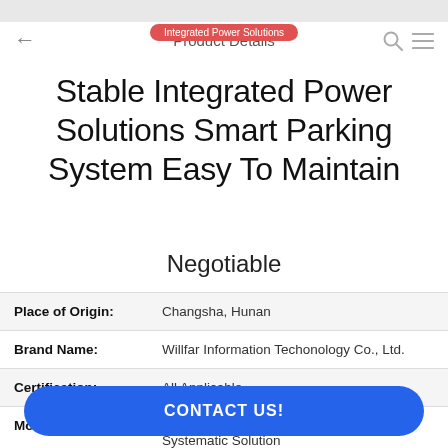Product Details
Stable Integrated Power Solutions Smart Parking System Easy To Maintain
Negotiable
| Field | Value |
| --- | --- |
| Place of Origin: | Changsha, Hunan |
| Brand Name: | Willfar Information Techonology Co., Ltd. |
| Certification: | All Applicable |
| Model Number: | Energy Metering and Energy Efficiency Systematic Solution |
CONTACT US!